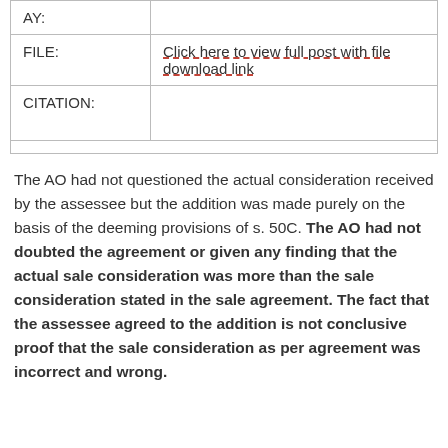| AY: |  |
| FILE: | Click here to view full post with file download link |
| CITATION: |  |
The AO had not questioned the actual consideration received by the assessee but the addition was made purely on the basis of the deeming provisions of s. 50C. The AO had not doubted the agreement or given any finding that the actual sale consideration was more than the sale consideration stated in the sale agreement. The fact that the assessee agreed to the addition is not conclusive proof that the sale consideration as per agreement was incorrect and wrong.